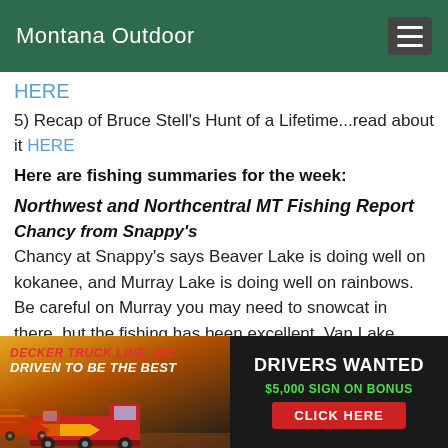Montana Outdoor
HERE
5) Recap of Bruce Stell's Hunt of a Lifetime...read about it HERE
Here are fishing summaries for the week:
Northwest and Northcentral MT Fishing Report
Chancy from Snappy's
Chancy at Snappy's says Beaver Lake is doing well on kokanee, and Murray Lake is doing well on rainbows. Be careful on Murray you may need to snowcat in there, but the fishing has been excellent. Van Lake down the Swan is doing well on rainbows.  Echo Lake's producing  kokanee , whitefish, and a few perch. Smith Lake's doing well with a lot of small nice pike and some good sized
[Figure (infographic): Decker Truck Line Inc advertisement. Left side shows trucks on a sunset background with text 'DECKER TRUCK LINE, INC. DRIVEN TO BE THE BEST'. Right side on black background shows 'DRIVERS WANTED', '$5,000 SIGN ON BONUS', 'CLICK HERE' button.]